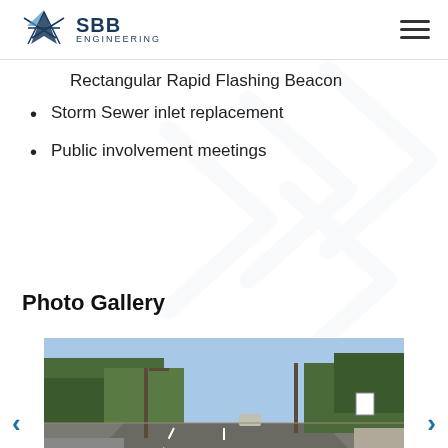SBB Engineering
Rectangular Rapid Flashing Beacon
Storm Sewer inlet replacement
Public involvement meetings
Photo Gallery
[Figure (photo): Road/street photo showing a multi-lane road with trees, utility poles, a vehicle, and road signs under a clear sky. Navigation arrows on left and right sides.]